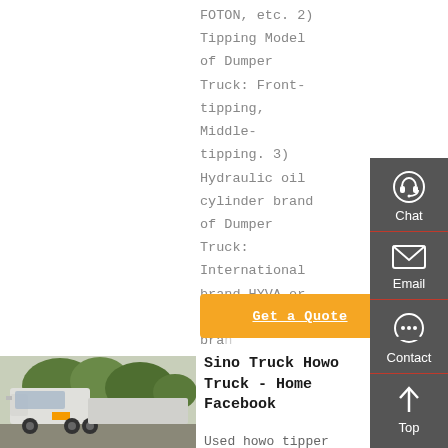FOTON, etc. 2) Tipping Model of Dumper Truck: Front-tipping, Middle-tipping. 3) Hydraulic oil cylinder brand of Dumper Truck: International brand HYVA or Chinese famous bra...
[Figure (other): Orange 'Get a Quote' button]
[Figure (photo): Photo of a white Sino Howo truck (tractor unit) parked outdoors with trees in background]
Sino Truck Howo Truck - Home Facebook
Used howo tipper truck,